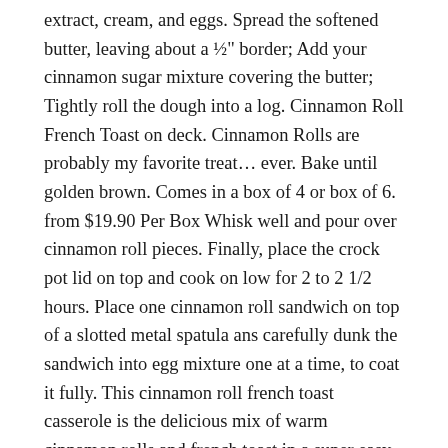extract, cream, and eggs. Spread the softened butter, leaving about a ½" border; Add your cinnamon sugar mixture covering the butter; Tightly roll the dough into a log. Cinnamon Roll French Toast on deck. Cinnamon Rolls are probably my favorite treat… ever. Bake until golden brown. Comes in a box of 4 or box of 6. from $19.90 Per Box Whisk well and pour over cinnamon roll pieces. Finally, place the crock pot lid on top and cook on low for 2 to 2 1/2 hours. Place one cinnamon roll sandwich on top of a slotted metal spatula ans carefully dunk the sandwich into egg mixture one at a time, to coat it fully. This cinnamon roll french toast casserole is the delicious mix of warm cinnamon rolls and french toast in a super easy, delicious casserole that is the perfect breakfast or brunch for the holidays! Let's talk a little about